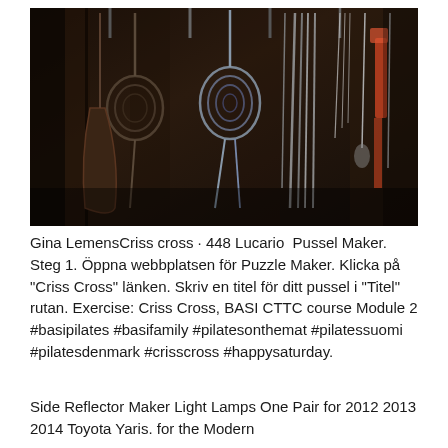[Figure (photo): Dark photograph of various tools, ropes, hooks and equipment hanging on a wooden wall in what appears to be a workshop or shed]
Gina LemensCriss cross · 448 Lucario  Pussel Maker.  Steg 1. Öppna webbplatsen för Puzzle Maker. Klicka på "Criss Cross" länken. Skriv en titel för ditt pussel i "Titel" rutan. Exercise: Criss Cross, BASI CTTC course Module 2 #basipilates #basifamily #pilatesonthemat #pilatessuomi #pilatesdenmark #crisscross #happysaturday.
Side Reflector Maker Light Lamps One Pair for 2012 2013 2014 Toyota Yaris. for the Modern